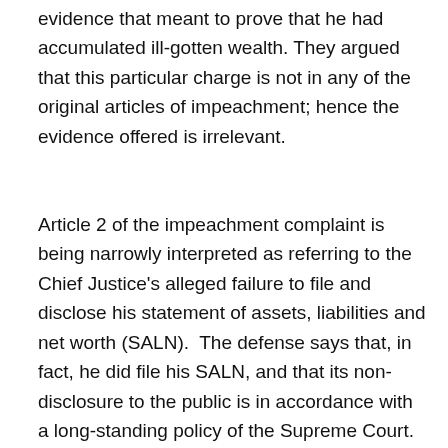evidence that meant to prove that he had accumulated ill-gotten wealth. They argued that this particular charge is not in any of the original articles of impeachment; hence the evidence offered is irrelevant.
Article 2 of the impeachment complaint is being narrowly interpreted as referring to the Chief Justice's alleged failure to file and disclose his statement of assets, liabilities and net worth (SALN).  The defense says that, in fact, he did file his SALN, and that its non-disclosure to the public is in accordance with a long-standing policy of the Supreme Court. The question now before the Senate tribunal is whether to allow the presentation of evidence that purports to show that the information contained in the Chief Justice's SALN is not truthful.  The defense warns